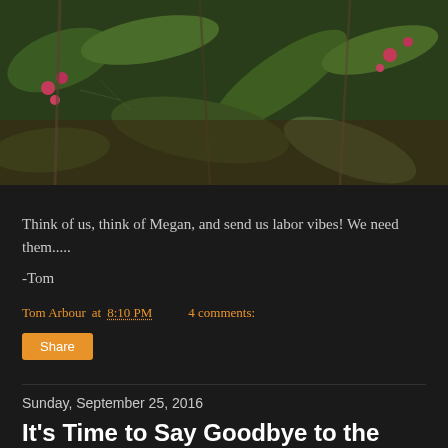[Figure (photo): Close-up photo of plant leaves and small pink/red berries on dark background]
Think of us, think of Megan, and send us labor vibes!  We need them.....
-Tom
Tom Arbour at 8:10 PM    4 comments:
Share
Sunday, September 25, 2016
It's Time to Say Goodbye to the Backyard